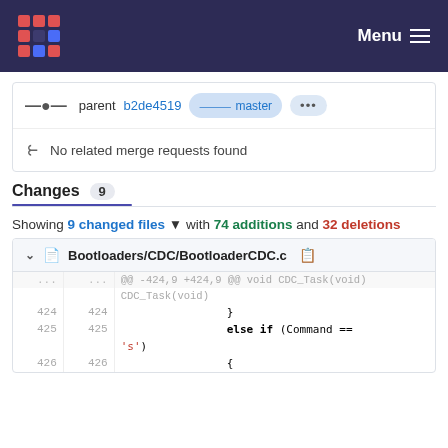Menu
parent b2de4519  master  ...
No related merge requests found
Changes 9
Showing 9 changed files with 74 additions and 32 deletions
Bootloaders/CDC/BootloaderCDC.c
| old | new | code |
| --- | --- | --- |
| ... | ... | @@ -424,9 +424,9 @@ void CDC_Task(void) |
| 424 | 424 |                 } |
| 425 | 425 |                 else if (Command == 's') |
| 426 | 426 |                 { |